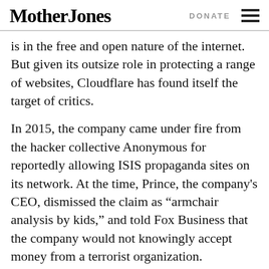Mother Jones | DONATE
is in the free and open nature of the internet. But given its outsize role in protecting a range of websites, Cloudflare has found itself the target of critics.
In 2015, the company came under fire from the hacker collective Anonymous for reportedly allowing ISIS propaganda sites on its network. At the time, Prince, the company's CEO, dismissed the claim as “armchair analysis by kids,” and told Fox Business that the company would not knowingly accept money from a terrorist organization.
Kramer, in an interview with ProPublica, reiterated that the company would not accept money from